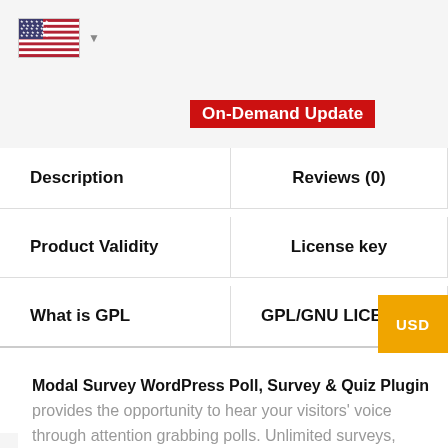[Figure (illustration): US flag icon with dropdown arrow]
On-Demand Update
Description
Reviews (0)
Product Validity
License key
What is GPL
GPL/GNU LICENSE
Modal Survey WordPress Poll, Survey & Quiz Plugin provides the opportunity to hear your visitors' voice through attention grabbing polls. Unlimited surveys, questions and